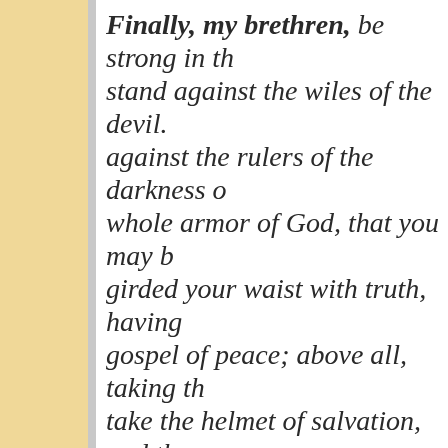Finally, my brethren, be strong in the... stand against the wiles of the devil. ...against the rulers of the darkness of... whole armor of God, that you may b... girded your waist with truth, having ...gospel of peace; above all, taking th... take the helmet of salvation, and the... in the Spirit, being watchful to this e... given to me, that I may open my mo... that in it I may speak boldly, as I oug...
Now is the judgment of this world; n...
I will no longer talk much with you, f...
... of judgment, because the ruler of...
And war broke out in heaven: Micha... not prevail, nor was a place found f...